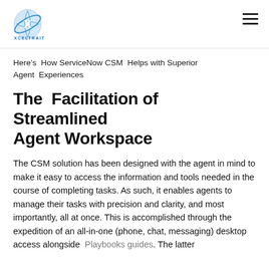XCELTRAIT
Here’s How ServiceNow CSM Helps with Superior Agent Experiences
The Facilitation of Streamlined Agent Workspace
The CSM solution has been designed with the agent in mind to make it easy to access the information and tools needed in the course of completing tasks. As such, it enables agents to manage their tasks with precision and clarity, and most importantly, all at once. This is accomplished through the expedition of an all-in-one (phone, chat, messaging) desktop access alongside Playbooks guides. The latter